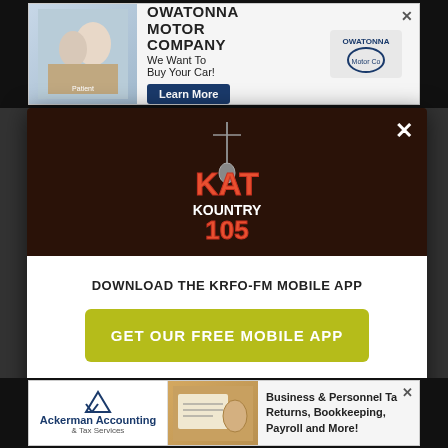[Figure (screenshot): Top advertisement banner for Owatonna Motor Company with text 'We Want To Buy Your Car! Learn More']
[Figure (logo): KAT Kountry 105 radio station logo — stylized text with guitar icon]
DOWNLOAD THE KRFO-FM MOBILE APP
GET OUR FREE MOBILE APP
Also listen on: amazon alexa
[Figure (screenshot): Bottom advertisement banner for Ackerman Accounting & Tax Services — Business & Personnel Tax Returns, Bookkeeping, Payroll and More!]